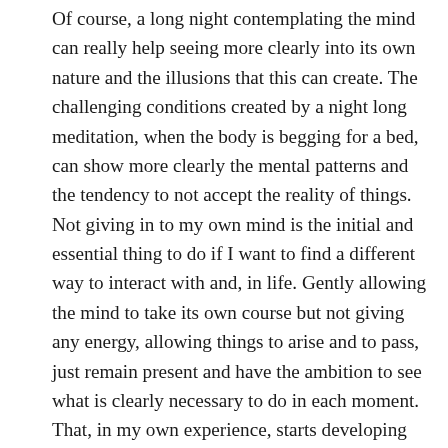Of course, a long night contemplating the mind can really help seeing more clearly into its own nature and the illusions that this can create. The challenging conditions created by a night long meditation, when the body is begging for a bed, can show more clearly the mental patterns and the tendency to not accept the reality of things. Not giving in to my own mind is the initial and essential thing to do if I want to find a different way to interact with and, in life. Gently allowing the mind to take its own course but not giving any energy, allowing things to arise and to pass, just remain present and have the ambition to see what is clearly necessary to do in each moment. That, in my own experience, starts developing another kind of mind, the wisdom mind, the mind that knows without knowing as I like to call it. It knows without knowing because it doesn't need to have the knowledge of past events, of an encyclopaedia of things to know what the present moment requires. This illuminated mind just prompts one to act with no further thinking, what it is